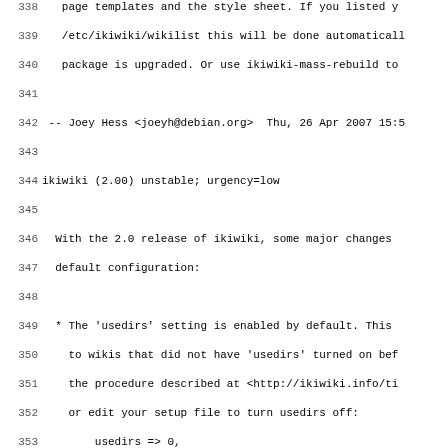Debian changelog for ikiwiki package, lines 338-370, showing version entries for ikiwiki 2.00 and 1.51 with maintainer signatures by Joey Hess.